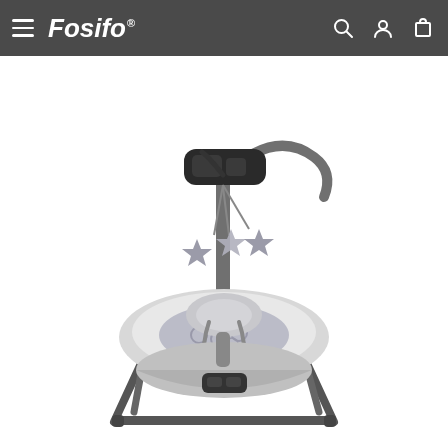Fosifo® — navigation header with menu, logo, search, account, and cart icons
[Figure (photo): Baby swing/bouncer product photo. A Graco-style infant swing with a gray metal frame stand, a light gray padded seat with harness, a decorative insert with circular pattern, a dark control unit at the top, a curved arm holding a mobile with three star-shaped plush toys hanging down. The product is shown on a white background.]